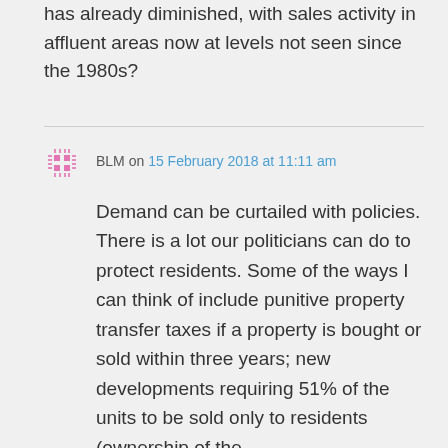has already diminished, with sales activity in affluent areas now at levels not seen since the 1980s?
BLM on 15 February 2018 at 11:11 am
Demand can be curtailed with policies. There is a lot our politicians can do to protect residents. Some of the ways I can think of include punitive property transfer taxes if a property is bought or sold within three years; new developments requiring 51% of the units to be sold only to residents (ownership of the